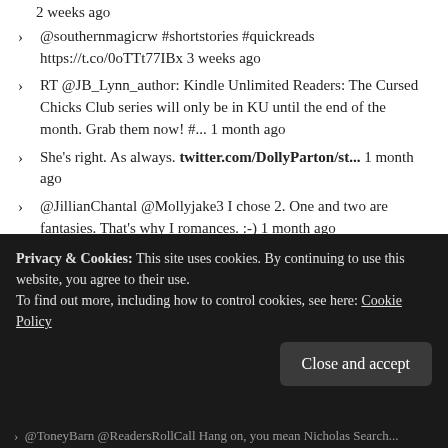2 weeks ago
@southernmagicrw #shortstories #quickreads https://t.co/0oTTt77IBx 3 weeks ago
RT @JB_Lynn_author: Kindle Unlimited Readers: The Cursed Chicks Club series will only be in KU until the end of the month. Grab them now! #... 1 month ago
She's right. As always. twitter.com/DollyParton/st... 1 month ago
@JillianChantal @Mollyjake3 I chose 2. One and two are fantasies. That's why I romances. :-) 1 month ago
RT @BookClubPro1: Fury Falls Inn 1821 Alabama. A place for ghosts, witches, magic. by @BettyBolte get it now amazon.com/gp/product/B09…ht... 1 month ago
RT @KerrelynSparks: Sale! Some e-book sales going on with #TheEmbraced series! How to Tame a Beast in Seven Days is only $7.99 and The Si... 1 month ago
Privacy & Cookies: This site uses cookies. By continuing to use this website, you agree to their use.
To find out more, including how to control cookies, see here: Cookie Policy
Close and accept
@ToneyBarn @ReadersRollCall Hang on, you mean Nicholas Search...